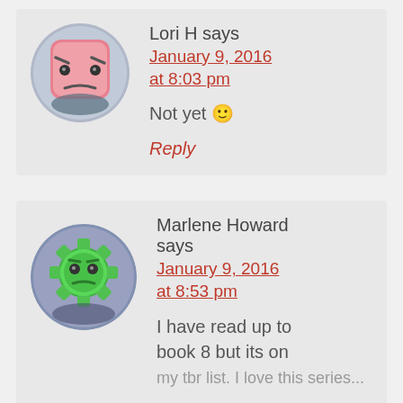[Figure (illustration): Round avatar with angry pink square face character on blue-grey background]
Lori H says
January 9, 2016 at 8:03 pm
Not yet 🙂
Reply
[Figure (illustration): Round avatar with sad green gear/cog face character on blue-grey background]
Marlene Howard says
January 9, 2016 at 8:53 pm
I have read up to book 8 but its on my tbr list. I love this series...